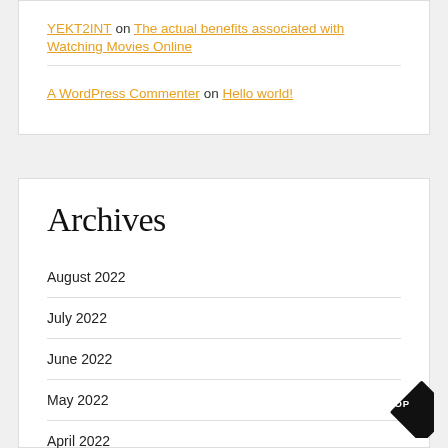YEKT2INT on The actual benefits associated with Watching Movies Online
A WordPress Commenter on Hello world!
Archives
August 2022
July 2022
June 2022
May 2022
April 2022
March 2022